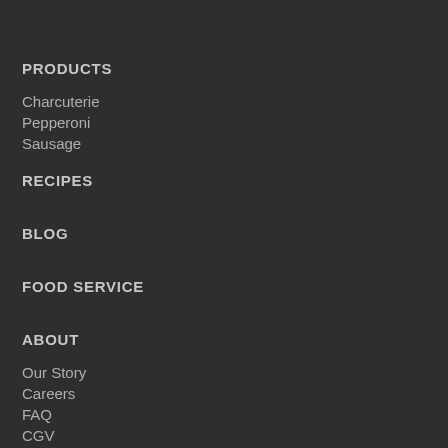PRODUCTS
Charcuterie
Pepperoni
Sausage
RECIPES
BLOG
FOOD SERVICE
ABOUT
Our Story
Careers
FAQ
CGV